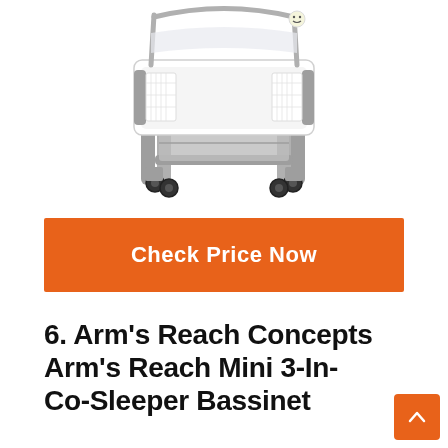[Figure (photo): Photo of a gray and white baby bassinet/co-sleeper on wheels with a canopy frame]
Check Price Now
6. Arm’s Reach Concepts Arm’s Reach Mini 3-In- Co-Sleeper Bassinet